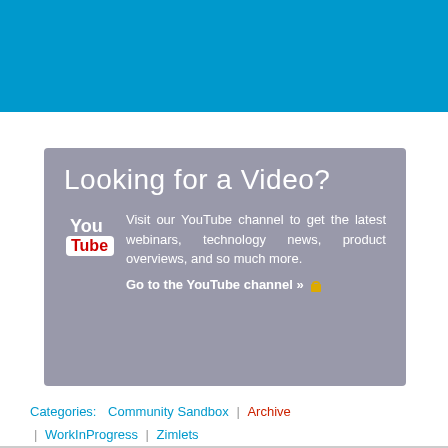[Figure (other): Blue banner at top of page]
[Figure (other): Gray box with YouTube channel promotion. Title: 'Looking for a Video?'. Text: 'Visit our YouTube channel to get the latest webinars, technology news, product overviews, and so much more.' Link: 'Go to the YouTube channel »' with lock icon. Contains YouTube logo.]
Categories: Community Sandbox | Archive | WorkInProgress | Zimlets